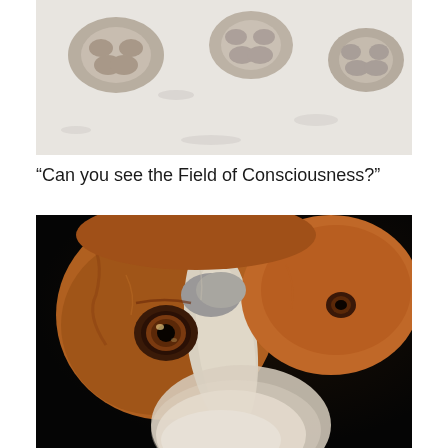[Figure (photo): Dog paws resting in snow, viewed from above, showing tan/grey paw pads against white snow background]
“Can you see the Field of Consciousness?”
[Figure (photo): Close-up portrait of a beagle dog looking up at the camera with soulful brown eyes; a white paw is raised in the foreground; dark background]